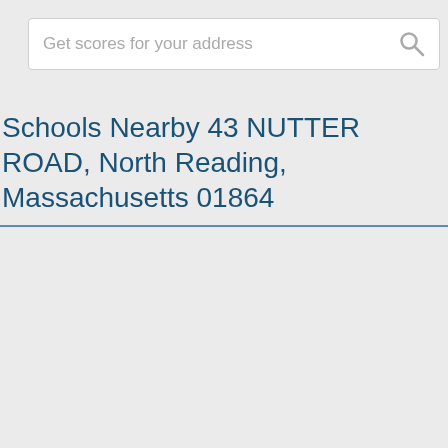[Figure (screenshot): Search bar with placeholder text 'Get scores for your address' and a search icon on the right]
Schools Nearby 43 NUTTER ROAD, North Reading, Massachusetts 01864